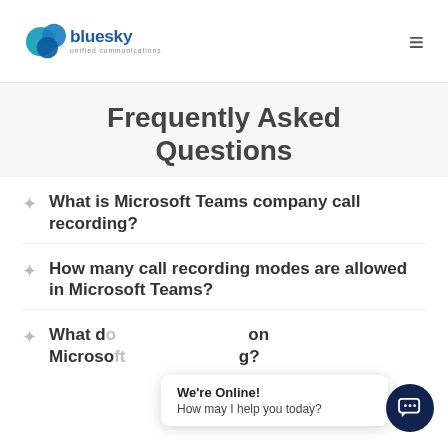bluesky unified communications
Frequently Asked Questions
What is Microsoft Teams company call recording?
How many call recording modes are allowed in Microsoft Teams?
What do ... on Microsoft ... recording?
We're Online! How may I help you today?